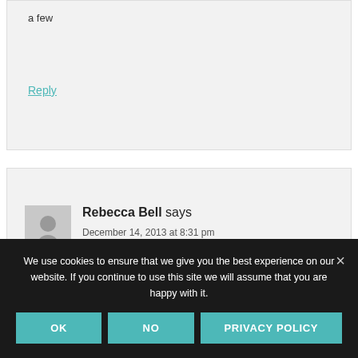a few
Reply
Rebecca Bell says
December 14, 2013 at 8:31 pm
We use cookies to ensure that we give you the best experience on our website. If you continue to use this site we will assume that you are happy with it.
OK
NO
PRIVACY POLICY